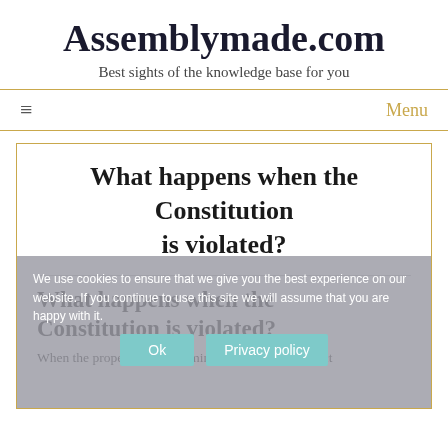Assemblymade.com
Best sights of the knowledge base for you
What happens when the Constitution is violated?
What happens when the Constitution is violated?
We use cookies to ensure that we give you the best experience on our website. If you continue to use this site we will assume that you are happy with it.
When the proper court determines that a legislative act